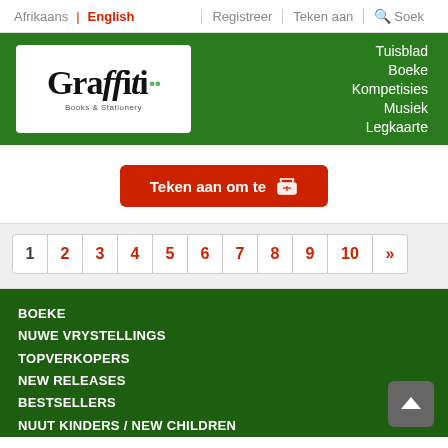Afrikaans | English | Registreer | Teken aan | Soek
[Figure (logo): Graffiti Books & Stationery logo in white box on green background with navigation links: Tuisblad, Boeke, Kompetisies, Musiek, Legkaarte]
Teken aan om te [cart icon]
Pagination: 1 2 3 4 5 6 7 8 9 10 »
BOEKE
NUWE VRYSTELLINGS
TOPVERKOPERS
NEW RELEASES
BESTSELLERS
NUUT KINDERS / NEW CHILDREN
TOPVERKOPERS KINDERS / BESTSELLERS CHILDREN
WINSKOPIES / SPECIALS